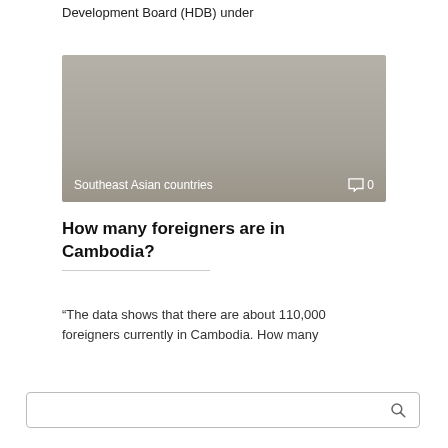Development Board (HDB) under
[Figure (photo): Gray-toned image of Southeast Asian countries, with a comment icon showing 0 comments in the bottom right corner.]
Southeast Asian countries   0
How many foreigners are in Cambodia?
“The data shows that there are about 110,000 foreigners currently in Cambodia. How many